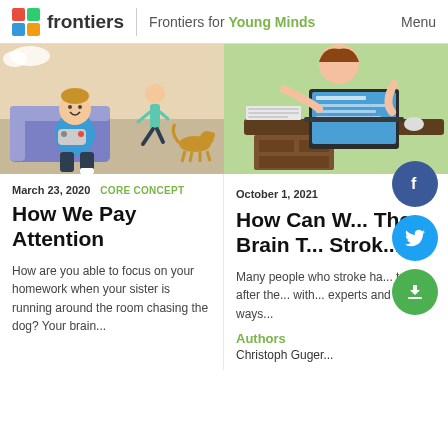frontiers | Frontiers for Young Minds   Menu
[Figure (illustration): Cartoon illustration of a boy sitting on a blue sofa playing a video game controller, with a girl/sister running after a dog in the background, colorful room setting.]
[Figure (illustration): Cartoon illustration of a person sitting at a dark brown desk using a laptop computer, viewed from the side.]
March 23, 2020
CORE CONCEPT
How We Pay Attention
How are you able to focus on your homework when your sister is running around the room chasing the dog? Your brain...
October 1, 2021
How Can W... The Brain T... Strok...
Many people who stroke ha... troub... after the... with... experts and meth... ways...
Authors
Christoph Guger...